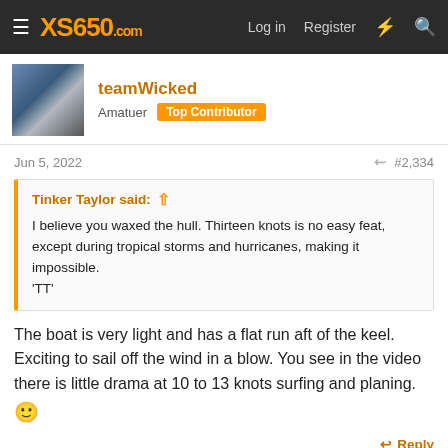XS650.com — Log in | Register
teamWicked
Amatuer  Top Contributor
Jun 5, 2022  #2,334
Tinker Taylor said: ↑
I believe you waxed the hull. Thirteen knots is no easy feat, except during tropical storms and hurricanes, making it impossible.
'TT'
The boat is very light and has a flat run aft of the keel. Exciting to sail off the wind in a blow. You see in the video there is little drama at 10 to 13 knots surfing and planing. 🙂
Reply
Tinker Taylor and Adamc
Bumblebee